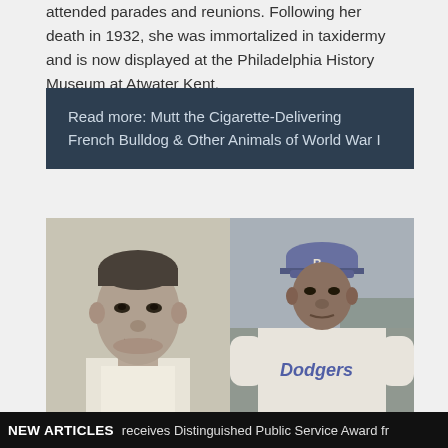attended parades and reunions. Following her death in 1932, she was immortalized in taxidermy and is now displayed at the Philadelphia History Museum at Atwater Kent.
Read more: Mutt the Cigarette-Delivering French Bulldog & Other Animals of World War I
[Figure (photo): Two side-by-side black and white photographs. Left: portrait of a man in a suit with slicked hair. Right: Jackie Robinson in Brooklyn Dodgers baseball uniform.]
NEW ARTICLES  receives Distinguished Public Service Award fr